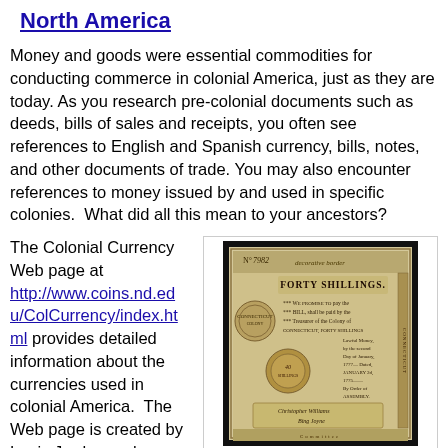North America
Money and goods were essential commodities for conducting commerce in colonial America, just as they are today. As you research pre-colonial documents such as deeds, bills of sales and receipts, you often see references to English and Spanish currency, bills, notes, and other documents of trade. You may also encounter references to money issued by and used in specific colonies.  What did all this mean to your ancestors?
The Colonial Currency Web page at http://www.coins.nd.edu/ColCurrency/index.html provides detailed information about the currencies used in colonial America.  The Web page is created by Louis Jordan and
[Figure (photo): A colonial currency note for Forty Shillings from Connecticut colony, dated January 2, 1777, ornately decorated with text and engravings.]